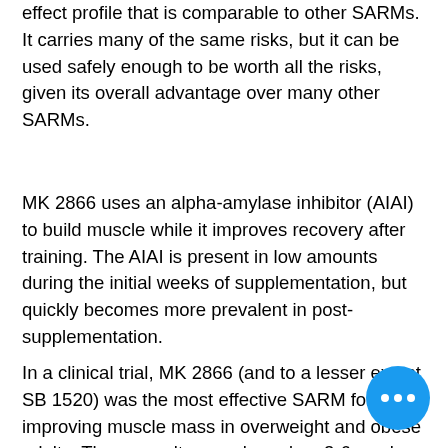effect profile that is comparable to other SARMs. It carries many of the same risks, but it can be used safely enough to be worth all the risks, given its overall advantage over many other SARMs.
MK 2866 uses an alpha-amylase inhibitor (AIAI) to build muscle while it improves recovery after training. The AIAI is present in low amounts during the initial weeks of supplementation, but quickly becomes more prevalent in post-supplementation.
In a clinical trial, MK 2866 (and to a lesser extent SB 1520) was the most effective SARM for improving muscle mass in overweight and obese adults. These results were based on 3-6 weeks of supplementation with a single dose of MK 2866 (0.5-5.0mg/kg/day). At higher doses (1.0-2.0mg/kg/day), MK 2866 has been shown to improve muscle mass and strength